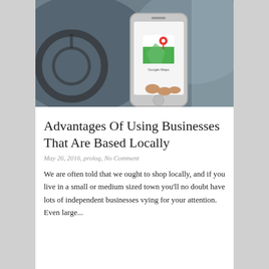[Figure (photo): A person holding a smartphone displaying the Google Maps app icon while sitting in a car near a steering wheel.]
Advantages Of Using Businesses That Are Based Locally
May 26, 2016, prolog, No Comment
We are often told that we ought to shop locally, and if you live in a small or medium sized town you'll no doubt have lots of independent businesses vying for your attention. Even large...